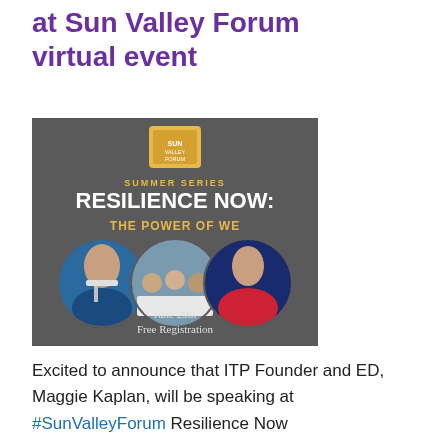at Sun Valley Forum virtual event
[Figure (illustration): Event promotional poster for Sun Valley Forum Summer Series: RESILIENCE NOW: THE POWER OF WE. Shows three circular photos of speakers/panelists. Date: June 29th. Free Registration.]
Excited to announce that ITP Founder and ED, Maggie Kaplan, will be speaking at #SunValleyForum Resilience Now